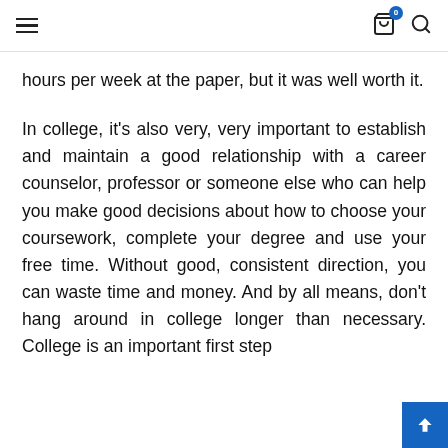≡  [cart icon with badge 0]  [search icon]
hours per week at the paper, but it was well worth it.
In college, it's also very, very important to establish and maintain a good relationship with a career counselor, professor or someone else who can help you make good decisions about how to choose your coursework, complete your degree and use your free time. Without good, consistent direction, you can waste time and money. And by all means, don't hang around in college longer than necessary. College is an important first step